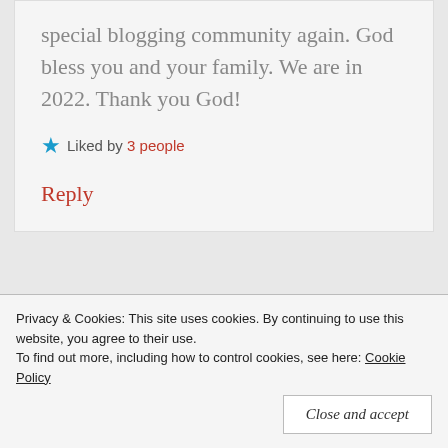special blogging community again. God bless you and your family. We are in 2022. Thank you God!
Liked by 3 people
Reply
Becoming His Tapestry
Privacy & Cookies: This site uses cookies. By continuing to use this website, you agree to their use. To find out more, including how to control cookies, see here: Cookie Policy
Close and accept
being driven, but at least now I have the